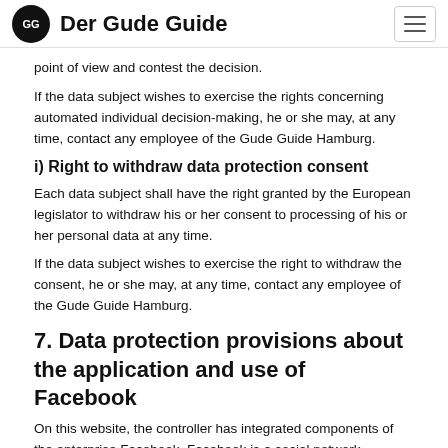Der Gude Guide
point of view and contest the decision.
If the data subject wishes to exercise the rights concerning automated individual decision-making, he or she may, at any time, contact any employee of the Gude Guide Hamburg.
i) Right to withdraw data protection consent
Each data subject shall have the right granted by the European legislator to withdraw his or her consent to processing of his or her personal data at any time.
If the data subject wishes to exercise the right to withdraw the consent, he or she may, at any time, contact any employee of the Gude Guide Hamburg.
7. Data protection provisions about the application and use of Facebook
On this website, the controller has integrated components of the enterprise Facebook. Facebook is a social network.